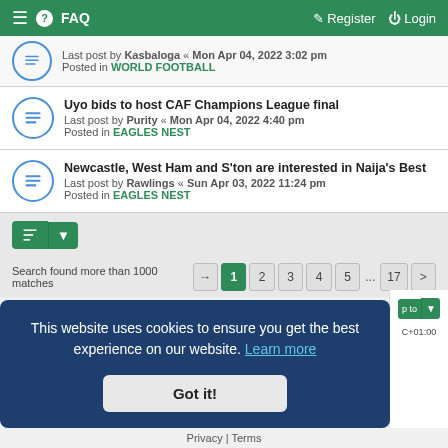☰ ❓ FAQ    Register  Login
Last post by Kasbaloga « Mon Apr 04, 2022 3:02 pm
Posted in WORLD FOOTBALL
Uyo bids to host CAF Champions League final
Last post by Purity « Mon Apr 04, 2022 4:40 pm
Posted in EAGLES NEST
Newcastle, West Ham and S'ton are interested in Naija's Best
Last post by Rawlings « Sun Apr 03, 2022 11:24 pm
Posted in EAGLES NEST
Search found more than 1000 matches  [→] 1 2 3 4 5 ... 17 [>]
This website uses cookies to ensure you get the best experience on our website. Learn more
Got it!
UTC+01:00
Privacy | Terms